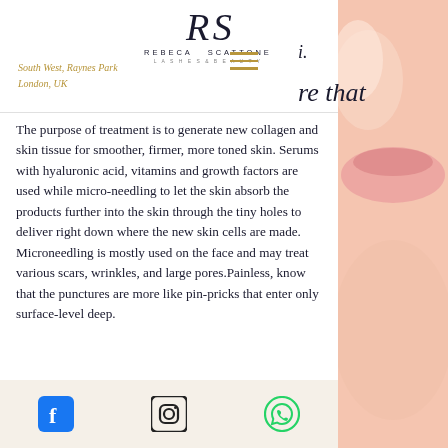[Figure (logo): Rebeca Scattone Lashes & Beauty logo with decorative script initials R and S]
South West, Raynes Park
London, UK
The purpose of treatment is to generate new collagen and skin tissue for smoother, firmer, more toned skin. Serums with hyaluronic acid, vitamins and growth factors are used while micro-needling to let the skin absorb the products further into the skin through the tiny holes to deliver right down where the new skin cells are made. Microneedling is mostly used on the face and may treat various scars, wrinkles, and large pores.Painless, know that the punctures are more like pin-pricks that enter only surface-level deep.
[Figure (photo): Close-up photo of woman's face/neck with smooth skin, peachy tone, on the right side of the page]
Social media icons: Facebook, Instagram, WhatsApp